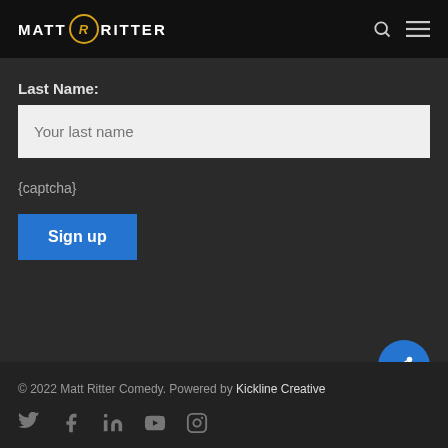MATT RITTER
Last Name:
Your last name
{captcha}
Sign up
© 2022 Matt Ritter Comedy. Powered by Kickline Creative